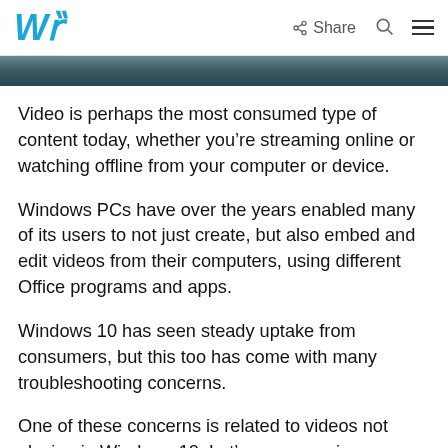WR  Share
[Figure (photo): Partial image strip showing a blurred dark background scene, cropped at top of page]
Video is perhaps the most consumed type of content today, whether you're streaming online or watching offline from your computer or device.
Windows PCs have over the years enabled many of its users to not just create, but also embed and edit videos from their computers, using different Office programs and apps.
Windows 10 has seen steady uptake from consumers, but this too has come with many troubleshooting concerns.
One of these concerns is related to videos not playing in Windows 10. Let's see some issues